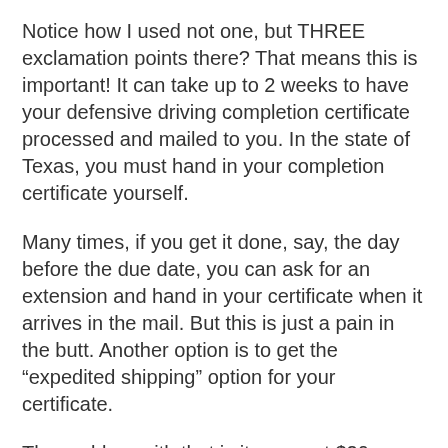Notice how I used not one, but THREE exclamation points there? That means this is important! It can take up to 2 weeks to have your defensive driving completion certificate processed and mailed to you. In the state of Texas, you must hand in your completion certificate yourself.
Many times, if you get it done, say, the day before the due date, you can ask for an extension and hand in your certificate when it arrives in the mail. But this is just a pain in the butt. Another option is to get the “expedited shipping” option for your certificate.
The problem with that is it can cost $20 or more just to rush ship a piece of paper. Ridiculous! My advice? Get it
[Figure (infographic): Social media sharing buttons: Twitter (blue), Facebook (dark blue), LinkedIn (blue), Pinterest (red)]